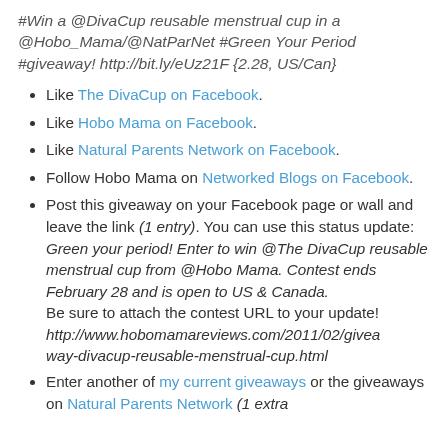#Win a @DivaCup reusable menstrual cup in a @Hobo_Mama/@NatParNet #Green Your Period #giveaway! http://bit.ly/eUz21F {2.28, US/Can}
Like The DivaCup on Facebook.
Like Hobo Mama on Facebook.
Like Natural Parents Network on Facebook.
Follow Hobo Mama on Networked Blogs on Facebook.
Post this giveaway on your Facebook page or wall and leave the link (1 entry). You can use this status update: Green your period! Enter to win @The DivaCup reusable menstrual cup from @Hobo Mama. Contest ends February 28 and is open to US & Canada. Be sure to attach the contest URL to your update! http://www.hobomamareviews.com/2011/02/giveaway-divacup-reusable-menstrual-cup.html
Enter another of my current giveaways or the giveaways on Natural Parents Network (1 extra entry per giveaway entered for)